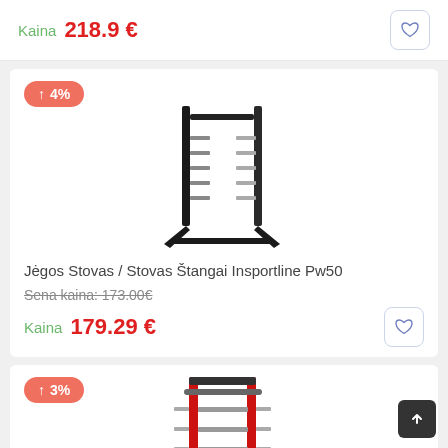Kaina  218.9 €
[Figure (photo): Product card showing a black barbell storage rack (Jėgos Stovas / Stovas Štangai Insportline Pw50) with 4% price increase badge]
Jėgos Stovas / Stovas Štangai Insportline Pw50
Sena kaina: 173.00€
Kaina  179.29 €
[Figure (photo): Partial product card showing a red and black power rack/pull-up station with 3% price increase badge]